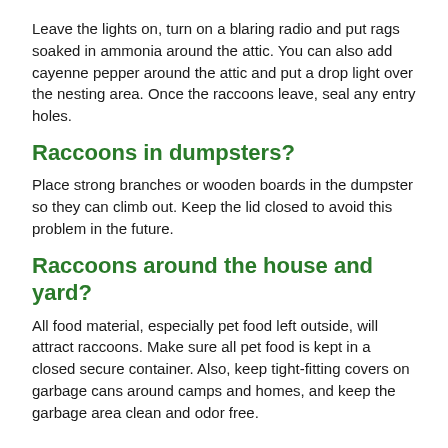Leave the lights on, turn on a blaring radio and put rags soaked in ammonia around the attic. You can also add cayenne pepper around the attic and put a drop light over the nesting area. Once the raccoons leave, seal any entry holes.
Raccoons in dumpsters?
Place strong branches or wooden boards in the dumpster so they can climb out. Keep the lid closed to avoid this problem in the future.
Raccoons around the house and yard?
All food material, especially pet food left outside, will attract raccoons. Make sure all pet food is kept in a closed secure container. Also, keep tight-fitting covers on garbage cans around camps and homes, and keep the garbage area clean and odor free.